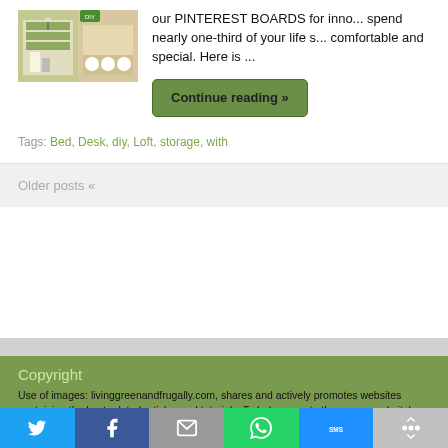[Figure (photo): Photo of loft bed with desk and storage shelving, IKEA-style furniture]
our PINTEREST BOARDS for inno... spend nearly one-third of your life s... comfortable and special. Here is ...
Continue reading »
Tags: Bed, Desk, diy, Loft, storage, with
Older posts «
Copyright
Use of images: livinggreenandfrugally.com, shares and actively promotes websites containing the best related articles and tutorials. To help promote the source website's article, we sometimes use images from the original article.If you have any issues regarding this please don't hesitate and contact us at: livinggreenandfrugally @ Gmail.com and we will remove ASAP.
[Figure (infographic): Social share bar with Twitter, Facebook, Email, WhatsApp, SMS, and More buttons]